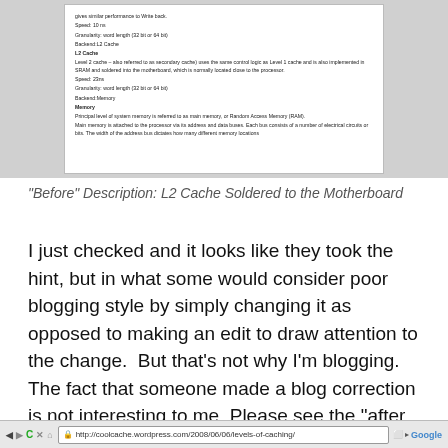[Figure (screenshot): Screenshot of a document page showing text about L2 Cache and Memory, including speed, granularity, and backend details. Sections include 'L2 Cache' and 'Memory' with their descriptions.]
"Before" Description: L2 Cache Soldered to the Motherboard
I just checked and it looks like they took the hint, but in what some would consider poor blogging style by simply changing it as opposed to making an edit to draw attention to the change.  But that’s not why I’m blogging. The fact that someone made a blog correction is not interesting to me. Please see the “after rendition” in the next screen shot:
[Figure (screenshot): Browser address bar showing URL: http://coolcache.wordpress.com/2008/06/06/levels-of-caching/]